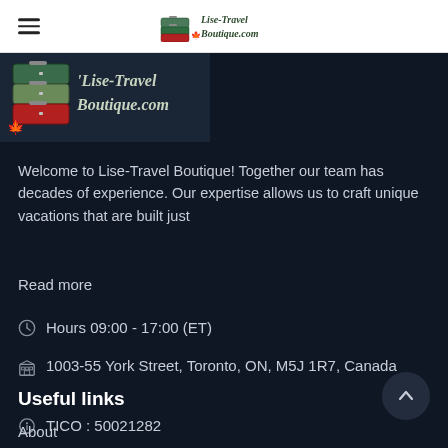Lise-Travel Boutique.com — navigation header with hamburger menu and logo
[Figure (logo): Lise-Travel Boutique.com logo with stacked suitcases and maple leaf]
Welcome to Lise-Travel Boutique! Together our team has decades of experience. Our expertise allows us to craft unique vacations that are built just
Read more
Hours 09:00 - 17:00 (ET)
1003-55 York Street, Toronto, ON, M5J 1R7, Canada
TICO : 50021282
Useful links
About